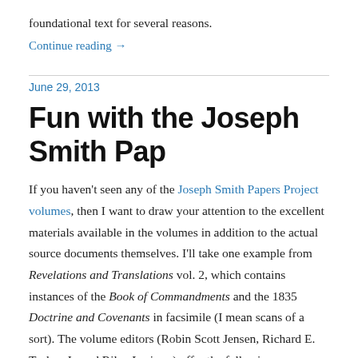foundational text for several reasons.
Continue reading →
June 29, 2013
Fun with the Joseph Smith Pap
If you haven't seen any of the Joseph Smith Papers Project volumes, then I want to draw your attention to the excellent materials available in the volumes in addition to the actual source documents themselves. I'll take one example from Revelations and Translations vol. 2, which contains instances of the Book of Commandments and the 1835 Doctrine and Covenants in facsimile (I mean scans of a sort). The volume editors (Robin Scott Jensen, Richard E. Turley, Jr. and Riley Lorimer) offer the following